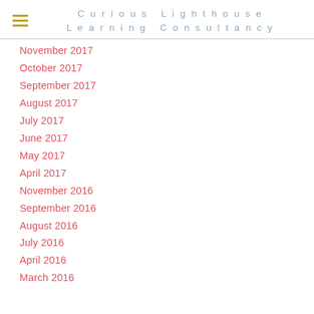Curious Lighthouse Learning Consultancy
November 2017
October 2017
September 2017
August 2017
July 2017
June 2017
May 2017
April 2017
November 2016
September 2016
August 2016
July 2016
April 2016
March 2016